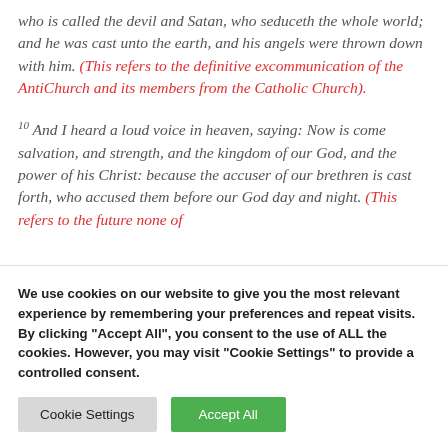who is called the devil and Satan, who seduceth the whole world; and he was cast unto the earth, and his angels were thrown down with him. (This refers to the definitive excommunication of the AntiChurch and its members from the Catholic Church).
10 And I heard a loud voice in heaven, saying: Now is come salvation, and strength, and the kingdom of our God, and the power of his Christ: because the accuser of our brethren is cast forth, who accused them before our God day and night. (This refers to the future none of
We use cookies on our website to give you the most relevant experience by remembering your preferences and repeat visits. By clicking "Accept All", you consent to the use of ALL the cookies. However, you may visit "Cookie Settings" to provide a controlled consent.